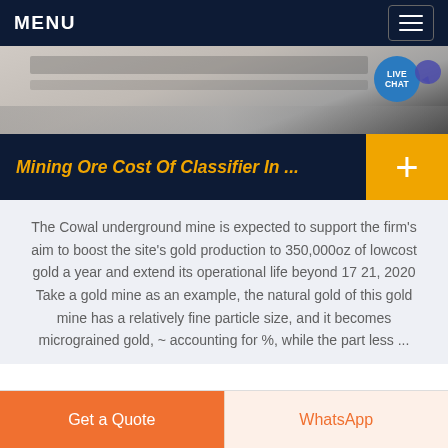MENU
[Figure (screenshot): Hero image of a desk with keyboard and notebook, with a LIVE CHAT bubble on the right.]
Mining Ore Cost Of Classifier In ...
The Cowal underground mine is expected to support the firm's aim to boost the site's gold production to 350,000oz of lowcost gold a year and extend its operational life beyond 17 21, 2020 Take a gold mine as an example, the natural gold of this gold mine has a relatively fine particle size, and it becomes micrograined gold, ~ accounting for %, while the part less ...
Get a Quote
WhatsApp